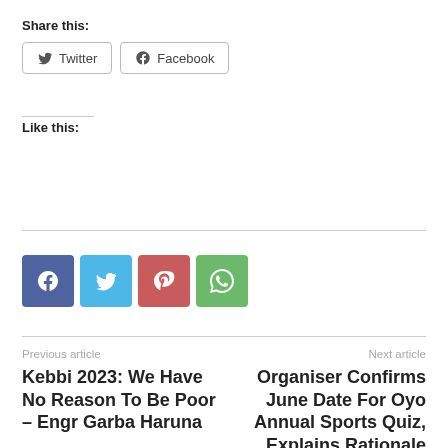Share this:
Twitter   Facebook
Like this:
[Figure (other): Row of four social media share icon buttons: Facebook (blue), Twitter (light blue), Pinterest (red), WhatsApp (green)]
Previous article
Kebbi 2023: We Have No Reason To Be Poor – Engr Garba Haruna
Next article
Organiser Confirms June Date For Oyo Annual Sports Quiz, Explains Rationale